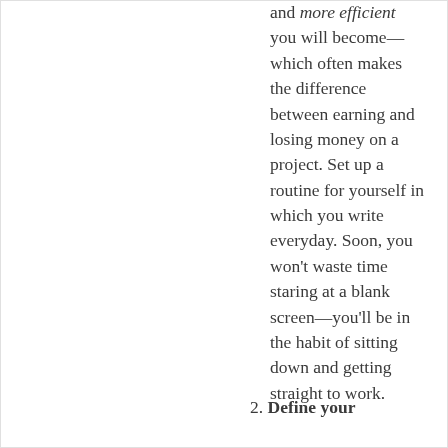and more efficient you will become—which often makes the difference between earning and losing money on a project. Set up a routine for yourself in which you write everyday. Soon, you won't waste time staring at a blank screen—you'll be in the habit of sitting down and getting straight to work.
2. Define your